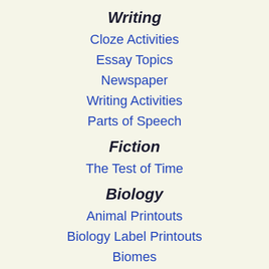Writing
Cloze Activities
Essay Topics
Newspaper
Writing Activities
Parts of Speech
Fiction
The Test of Time
Biology
Animal Printouts
Biology Label Printouts
Biomes
Birds
Butterflies
Dinosaurs